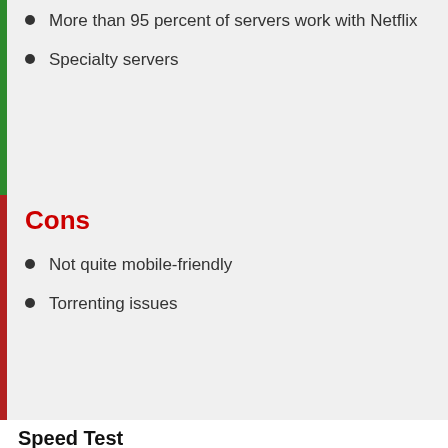More than 95 percent of servers work with Netflix
Specialty servers
Cons
Not quite mobile-friendly
Torrenting issues
Speed Test
The speed test result conducted in different countries to assess the impact of NordVPN on